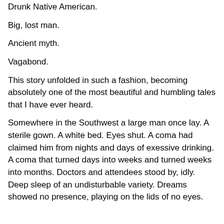Drunk Native American.
Big, lost man.
Ancient myth.
Vagabond.
This story unfolded in such a fashion, becoming absolutely one of the most beautiful and humbling tales that I have ever heard.
Somewhere in the Southwest a large man once lay. A sterile gown. A white bed. Eyes shut. A coma had claimed him from nights and days of exessive drinking. A coma that turned days into weeks and turned weeks into months. Doctors and attendees stood by, idly. Deep sleep of an undisturbable variety. Dreams showed no presence, playing on the lids of no eyes.